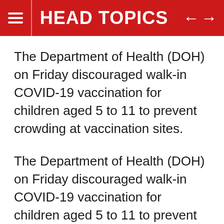HEAD TOPICS
The Department of Health (DOH) on Friday discouraged walk-in COVID-19 vaccination for children aged 5 to 11 to prevent crowding at vaccination sites.
The Department of Health (DOH) on Friday discouraged walk-in COVID-19 vaccination for children aged 5 to 11 to prevent crowding at vaccination sites.